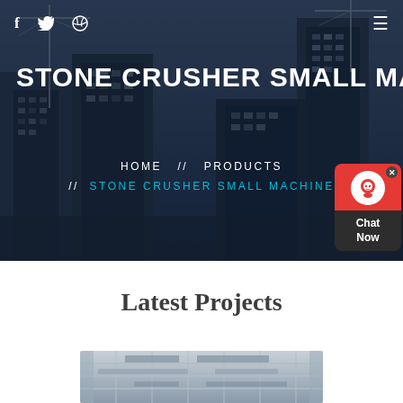[Figure (photo): Hero background showing construction site with cranes and high-rise buildings under a dark blue overlay]
f  Twitter  Dribbble  ≡
STONE CRUSHER SMALL MACHINE
HOME  //  PRODUCTS  //  STONE CRUSHER SMALL MACHINE
Latest Projects
[Figure (photo): Construction site interior photo showing scaffolding and structural work]